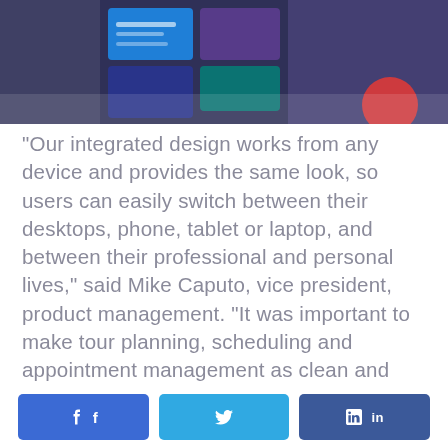[Figure (screenshot): Partial screenshot of a software interface with dark blue/purple background and colorful tile elements, cropped at top]
“Our integrated design works from any device and provides the same look, so users can easily switch between their desktops, phone, tablet or laptop, and between their professional and personal lives,” said Mike Caputo, vice president, product management. “It was important to make tour planning, scheduling and appointment management as clean and straight forward as possible while giving clients the flexibility to use our platform in
[Figure (infographic): Social media share buttons: Facebook (blue), Twitter (light blue), LinkedIn (dark blue)]